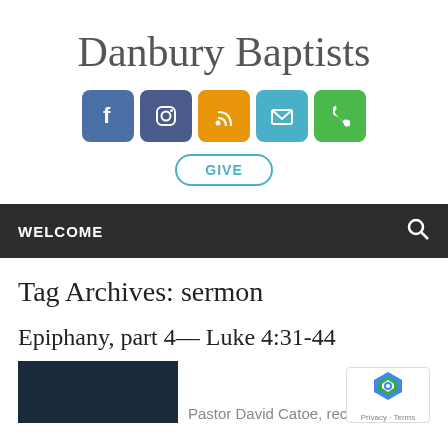Danbury Baptists
[Figure (infographic): Row of five social media icon buttons: Facebook (blue), Instagram (dark blue), RSS (orange), Email (teal), Phone (green), and a GIVE button below]
WELCOME
Tag Archives: sermon
Epiphany, part 4— Luke 4:31-44
Pastor David Catoe, recorded LIVE